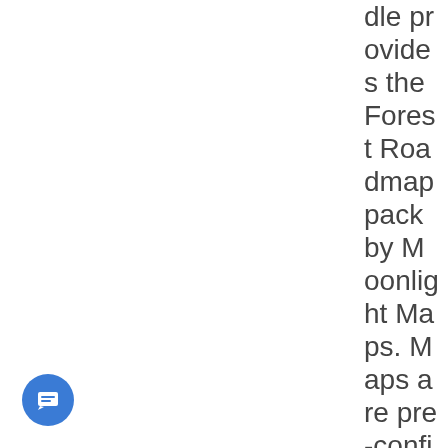dle provides the Forest Roadmap pack by Moonlight Maps. Maps are pre-confi
[Figure (illustration): Blue circular chat button icon with a white message/lines symbol at bottom-left corner of the page]